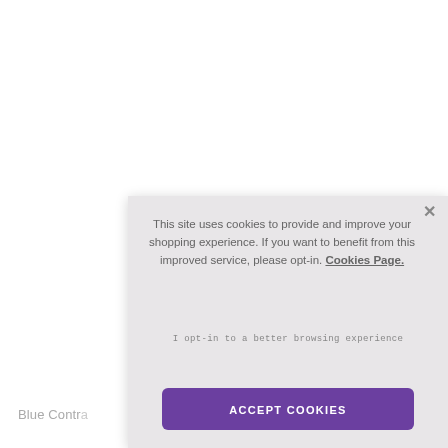Blue Contra…
This site uses cookies to provide and improve your shopping experience. If you want to benefit from this improved service, please opt-in. Cookies Page.
I opt-in to a better browsing experience
ACCEPT COOKIES